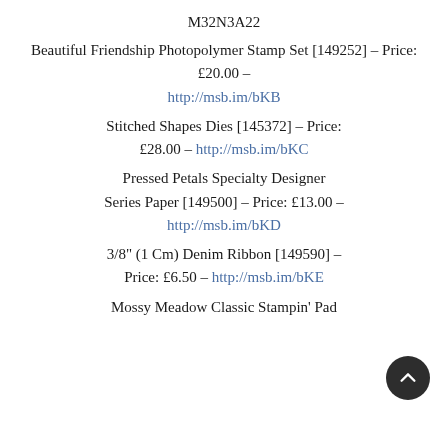M32N3A22
Beautiful Friendship Photopolymer Stamp Set [149252] – Price: £20.00 – http://msb.im/bKB
Stitched Shapes Dies [145372] – Price: £28.00 – http://msb.im/bKC
Pressed Petals Specialty Designer Series Paper [149500] – Price: £13.00 – http://msb.im/bKD
3/8" (1 Cm) Denim Ribbon [149590] – Price: £6.50 – http://msb.im/bKE
Mossy Meadow Classic Stampin' Pad